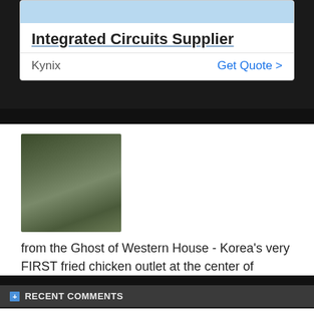[Figure (screenshot): Advertisement banner with light blue image placeholder at top]
Integrated Circuits Supplier
Kynix   Get Quote >
[Figure (photo): Photo of a soldier wearing a military helmet and gear]
from the Ghost of Western House - Korea's very FIRST fried chicken outlet at the center of iTaewon from the Rollin'60s 0o0
RECENT COMMENTS
Itaewon
Hello this is dark'n'flirtatious iTaewon BLog Pilot trying to be the R-E-A-L Rhapsody Angel and as I...
Ali
Hello I am staying at iTHEWON TIME ZONE Hotel want to